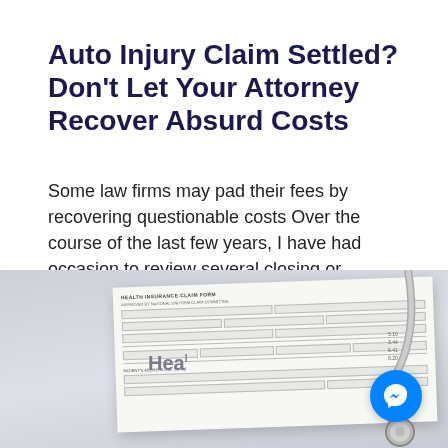Auto Injury Claim Settled? Don't Let Your Attorney Recover Absurd Costs
Some law firms may pad their fees by recovering questionable costs Over the course of the last few years, I have had occasion to review several closing or settlement statements [...]
[Figure (photo): A health insurance claim form on a desk next to a keyboard and stethoscope, with a Messenger chat button overlay in the bottom right corner.]